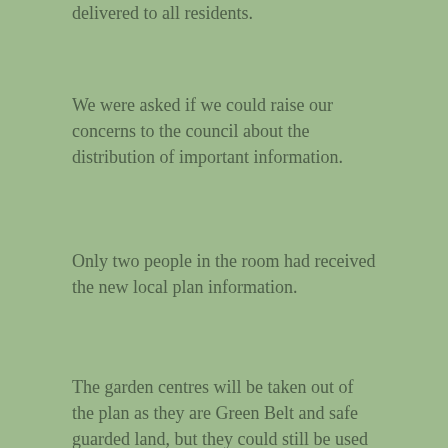delivered to all residents.
We were asked if we could raise our concerns to the council about the distribution of important information.
Only two people in the room had received the new local plan information.
The garden centres will be taken out of the plan as they are Green Belt and safe guarded land, but they could still be used in the future.